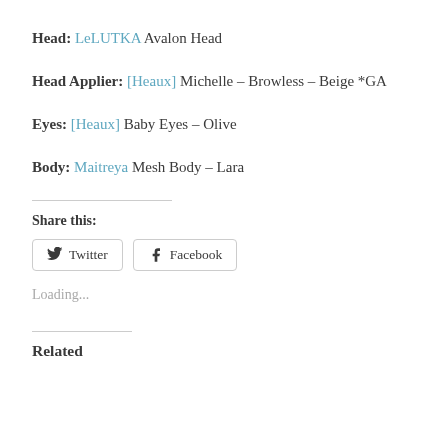Head: LeLUTKA Avalon Head
Head Applier: [Heaux] Michelle – Browless – Beige *GA
Eyes: [Heaux] Baby Eyes – Olive
Body: Maitreya Mesh Body – Lara
Share this:
Twitter  Facebook
Loading...
Related